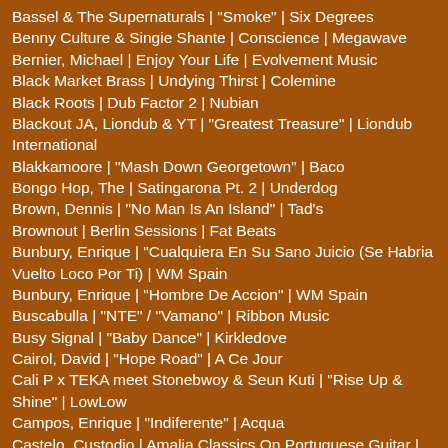Bassel & The Supernaturals | "Smoke" | Six Degrees
Benny Culture & Singie Shante | Conscience | Megawave
Bernier, Michael | Enjoy Your Life | Evolvement Music
Black Market Brass | Undying Thirst | Colemine
Black Roots | Dub Factor 2 | Nubian
Blackout JA, Liondub & YT | "Greatest Treasure" | Liondub International
Blakkamoore | "Mash Down Georgetown" | Baco
Bongo Hop, The | Satingarona Pt. 2 | Underdog
Brown, Dennis | "No Man Is An Island" | Tad's
Brownout | Berlin Sessions | Fat Beats
Bunbury, Enrique | "Cualquiera En Su Sano Juicio (Se Habria Vuelto Loco Por Ti) | WM Spain
Bunbury, Enrique | "Hombre De Accion" | WM Spain
Buscabulla | "NTE" / "Vamano" | Ribbon Music
Busy Signal | "Baby Dance" | Kirkledove
Cairol, David | "Hope Road" | A Ce Jour
Cali P x TEKA meet Stonebwoy & Seun Kuti | "Rise Up & Shine" | LowLow
Campos, Enrique | "Indiferente" | Acqua
Castelo, Custodio | Amalia Classics On Portuguese Guitar | ARC